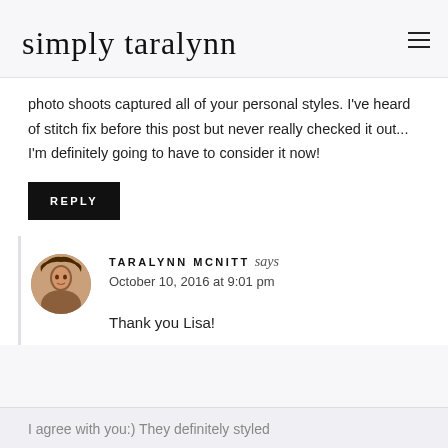simply taralynn
photo shoots captured all of your personal styles. I've heard of stitch fix before this post but never really checked it out... I'm definitely going to have to consider it now!
REPLY
TARALYNN MCNITT says
October 10, 2016 at 9:01 pm
Thank you Lisa!
I agree with you:) They definitely styled